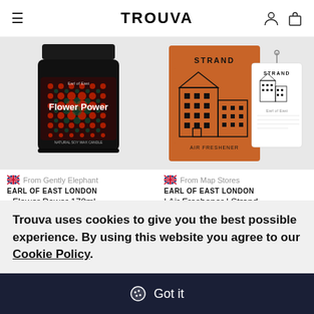TROUVA
[Figure (photo): Candle jar with 'Flower Power' label by Earl of East, psychedelic pattern on dark background]
🇬🇧 From Gently Elephant
EARL OF EAST LONDON
- Flower Power 170ml
[Figure (photo): Earl of East London Strand Air Freshener - brown card packaging with building illustration and hanging tag]
🇬🇧 From Map Stores
EARL OF EAST LONDON
| Air Freshener | Strand
Trouva uses cookies to give you the best possible experience. By using this website you agree to our Cookie Policy.
Got it